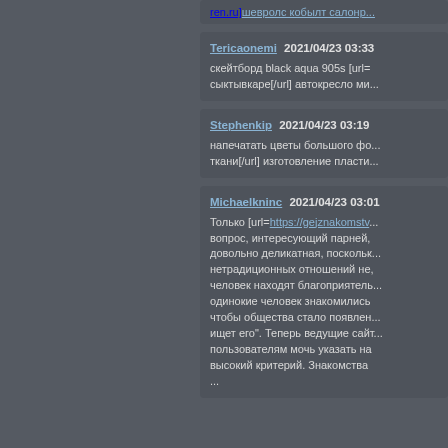ren.ru]шевролс кобылт салонр...
Tericaonemi 2021/04/23 03:33 скейтборд black aqua 905s [url= сыктывкаре[/url] автокресло ми...
Stephenkip 2021/04/23 03:19 напечатать цветы большого фо... ткани[/url] изготовление пласти...
Michaelkninc 2021/04/23 03:01 Только [url=https://gejznakomstv...] вопрос, интересующий парней, довольно деликатная, поскольк... нетрадиционных отношений не, человек находят благоприятель... одинокие человек знакомились чтобы общества стало появлен... ищет его". Теперь ведущие сайт... пользователям мочь указать на высокий критерий. Знакомства ...